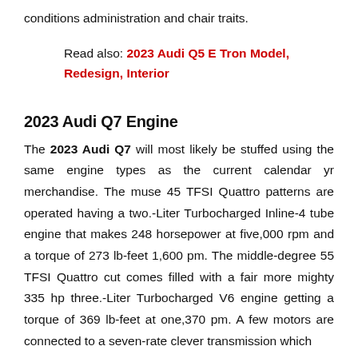conditions administration and chair traits.
Read also: 2023 Audi Q5 E Tron Model, Redesign, Interior
2023 Audi Q7 Engine
The 2023 Audi Q7 will most likely be stuffed using the same engine types as the current calendar yr merchandise. The muse 45 TFSI Quattro patterns are operated having a two.-Liter Turbocharged Inline-4 tube engine that makes 248 horsepower at five,000 rpm and a torque of 273 lb-feet 1,600 pm. The middle-degree 55 TFSI Quattro cut comes filled with a fair more mighty 335 hp three.-Liter Turbocharged V6 engine getting a torque of 369 lb-feet at one,370 pm. A few motors are connected to a seven-rate clever transmission which